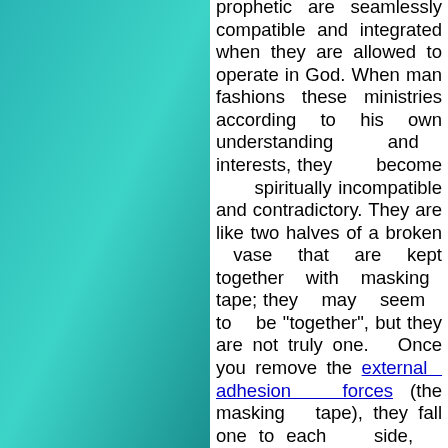prophetic are seamlessly compatible and integrated when they are allowed to operate in God. When man fashions these ministries according to his own understanding and interests, they become spiritually incompatible and contradictory. They are like two halves of a broken vase that are kept together with masking tape; they may seem to be "together", but they are not truly one. Once you remove the external adhesion forces (the masking tape), they fall one to each side, because their adhesion is not internal. When we operate in the Spirit of God, the apostolic ministry of judgments and the prophetic ministry of grace are intrinsically joined; when we operate in the former Adam, they are extrinsically joined, at